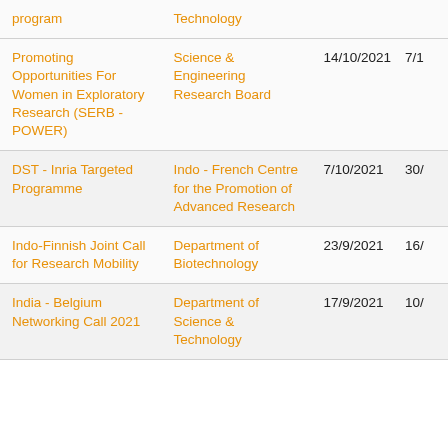| Program | Organization | Date 1 | Date 2 |
| --- | --- | --- | --- |
| program | Technology |  |  |
| Promoting Opportunities For Women in Exploratory Research (SERB - POWER) | Science & Engineering Research Board | 14/10/2021 | 7/1 |
| DST - Inria Targeted Programme | Indo - French Centre for the Promotion of Advanced Research | 7/10/2021 | 30/ |
| Indo-Finnish Joint Call for Research Mobility | Department of Biotechnology | 23/9/2021 | 16/ |
| India - Belgium Networking Call 2021 | Department of Science & Technology | 17/9/2021 | 10/ |